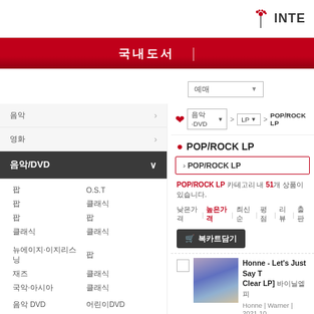INTE [logo]
국내도서
[Figure (screenshot): Korean bookstore website navigation showing DVD/LP categories with POP/ROCK LP section and a product listing for Honne - Let's Just Say That's Clear LP]
POP/ROCK LP
> POP/ROCK LP
POP/ROCK LP 카테고리 내 51개 상품이 있습니다.
낮은가격 | 높은가격 | 최신순 | 평점 | 리뷰 | 출판
🛒 복카트담기
Honne - Let's Just Say That's Clear LP] 바이닐엘피
Honne | Warner | 2021.10.
음악
영화
음악/DVD
팝 O.S.T
팝 클래식
팝 팝
클래식 클래식
뉴에이지·이지리스닝 팝
재즈 클래식
국악·아시아 클래식
음악 DVD 어린이DVD
EBS 교재 DVD
키즈비디오